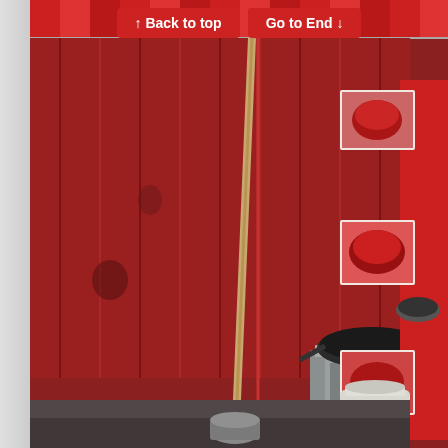[Figure (photo): A street food stall or outdoor cooking setup with red corrugated metal walls. In the center is a wok or large pan sitting on a metal burner/stove unit. To the right are shelves or racks with food photos/menu images displayed (showing red-colored dishes). A long-handled mop or broom leans against the wall in the center-left. On the ground is a white ceramic jug/pot and a small bucket. The background wall is heavily painted red/maroon corrugated metal sheeting.]
↑ Back to top   Go to End ↓